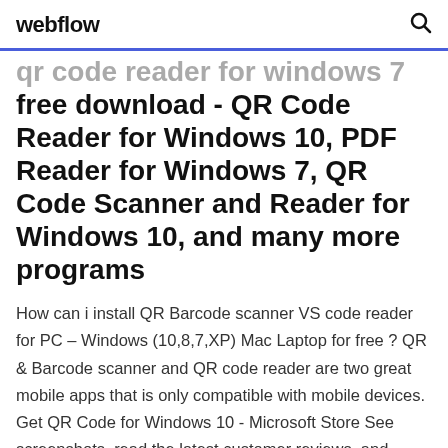webflow
qr code reader for windows 7 free download - QR Code Reader for Windows 10, PDF Reader for Windows 7, QR Code Scanner and Reader for Windows 10, and many more programs
How can i install QR Barcode scanner VS code reader for PC – Windows (10,8,7,XP) Mac Laptop for free ? QR & Barcode scanner and QR code reader are two great mobile apps that is only compatible with mobile devices. Get QR Code for Windows 10 - Microsoft Store See screenshots, read the latest customer reviews, and compare ratings for QR Code for Windows